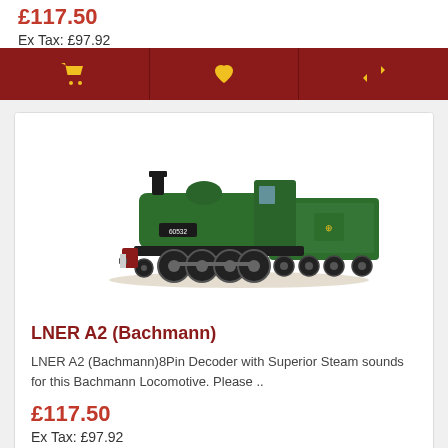£117.50
Ex Tax: £97.92
[Figure (other): Action bar with dark red background containing three yellow icons: shopping cart, heart/wishlist, and compare arrows]
[Figure (photo): Model railway locomotive - LNER A2 Bachmann steam engine in green BR livery, side profile view on a white background with slight shadow]
LNER A2 (Bachmann)
LNER A2 (Bachmann)8Pin Decoder with Superior Steam sounds for this Bachmann Locomotive. Please ..
£117.50
Ex Tax: £97.92